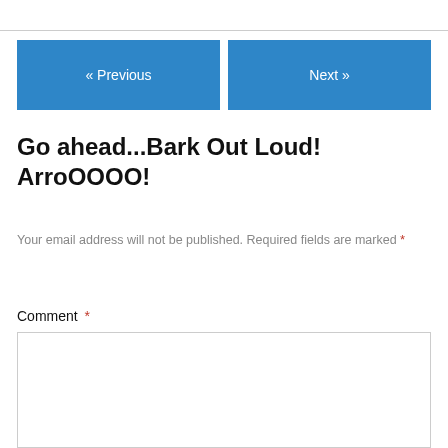« Previous   Next »
Go ahead...Bark Out Loud! ArroOOOO!
Your email address will not be published. Required fields are marked *
Comment *